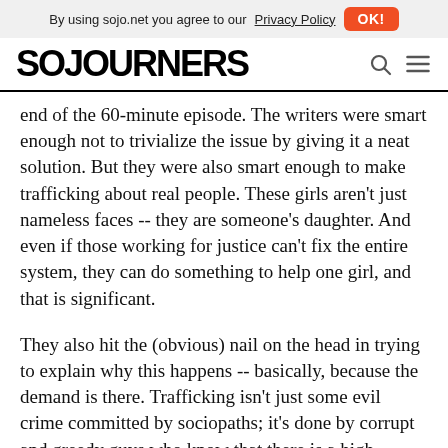By using sojo.net you agree to our Privacy Policy  OK!
[Figure (logo): Sojourners logo in bold black uppercase text]
end of the 60-minute episode. The writers were smart enough not to trivialize the issue by giving it a neat solution. But they were also smart enough to make trafficking about real people. These girls aren't just nameless faces -- they are someone's daughter. And even if those working for justice can't fix the entire system, they can do something to help one girl, and that is significant.
They also hit the (obvious) nail on the head in trying to explain why this happens -- basically, because the demand is there. Trafficking isn't just some evil crime committed by sociopaths; it's done by corrupt and greedy guys who know that there is a high demand for human flesh. If the businessmen at conferences in Vegas weren't looking for sex on demand, then kidnapping, abusing, raping, and breaking women into submissive prostitutes wouldn't be such a